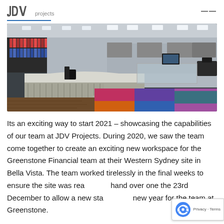JDV projects
[Figure (photo): Interior photo of a modern office workspace at Greenstone Financial, Bella Vista, showing a curved reception/café counter area with colorful carpet tiles in pink, purple, blue and orange, dark wood flooring, and open plan office behind.]
Its an exciting way to start 2021 – showcasing the capabilities of our team at JDV Projects. During 2020, we saw the team come together to create an exciting new workspace for the Greenstone Financial team at their Western Sydney site in Bella Vista. The team worked tirelessly in the final weeks to ensure the site was ready to hand over one the 23rd December to allow a new start in the new year for the team at Greenstone.